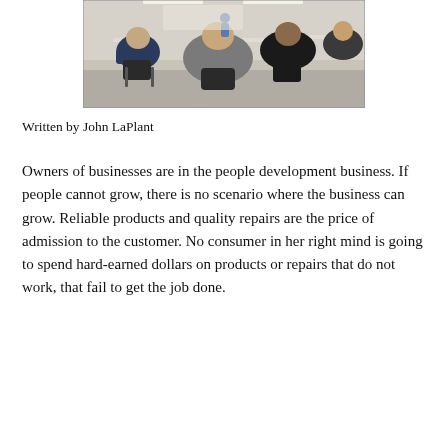[Figure (photo): Classroom scene viewed from behind, showing several students seated at desks facing an instructor at the front of the room.]
Written by John LaPlant
Owners of businesses are in the people development business. If people cannot grow, there is no scenario where the business can grow. Reliable products and quality repairs are the price of admission to the customer. No consumer in her right mind is going to spend hard-earned dollars on products or repairs that do not work, that fail to get the job done.